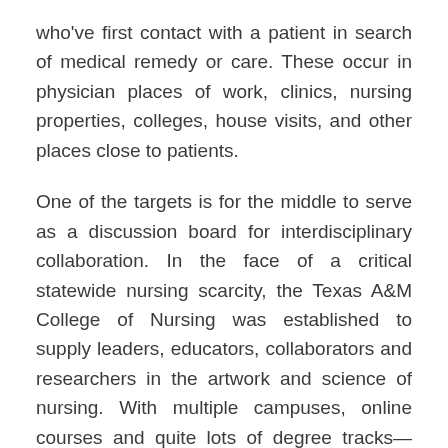who've first contact with a patient in search of medical remedy or care. These occur in physician places of work, clinics, nursing properties, colleges, house visits, and other places close to patients.
One of the targets is for the middle to serve as a discussion board for interdisciplinary collaboration. In the face of a critical statewide nursing scarcity, the Texas A&M College of Nursing was established to supply leaders, educators, collaborators and researchers in the artwork and science of nursing. With multiple campuses, online courses and quite lots of degree tracks—including a master's in forensic nursing—students can research with our extraordinary college in a means that meets